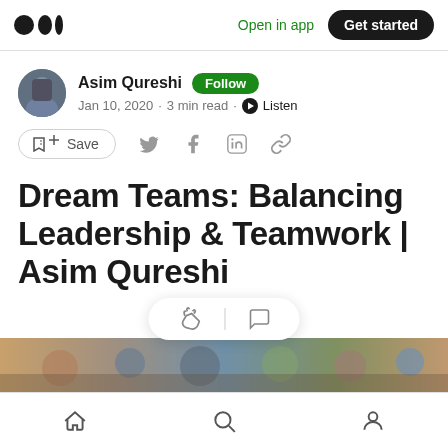Medium — Open in app · Get started
Asim Qureshi · Follow
Jan 10, 2020 · 3 min read · Listen
Save
Dream Teams: Balancing Leadership & Teamwork | Asim Qureshi
[Figure (photo): Group photo of team members used as article header image]
Home · Search · Profile (bottom navigation bar)